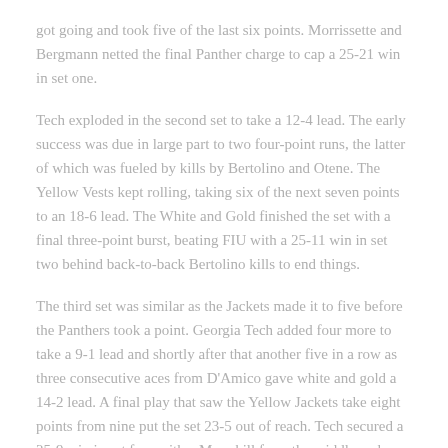got going and took five of the last six points. Morrissette and Bergmann netted the final Panther charge to cap a 25-21 win in set one.
Tech exploded in the second set to take a 12-4 lead. The early success was due in large part to two four-point runs, the latter of which was fueled by kills by Bertolino and Otene. The Yellow Vests kept rolling, taking six of the next seven points to an 18-6 lead. The White and Gold finished the set with a final three-point burst, beating FIU with a 25-11 win in set two behind back-to-back Bertolino kills to end things.
The third set was similar as the Jackets made it to five before the Panthers took a point. Georgia Tech added four more to take a 9-1 lead and shortly after that another five in a row as three consecutive aces from D'Amico gave white and gold a 14-2 lead. A final play that saw the Yellow Jackets take eight points from nine put the set 23-5 out of reach. Tech secured a 25-9 win in set four with a Moss kill from the middle and a match sweep to wrap things up.
GT invitation prices